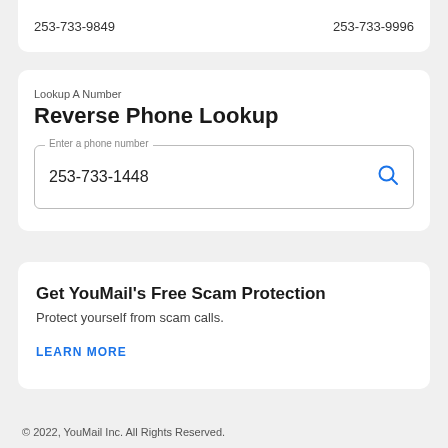253-733-9849    253-733-9996
Lookup A Number
Reverse Phone Lookup
253-733-1448
Get YouMail's Free Scam Protection
Protect yourself from scam calls.
LEARN MORE
© 2022, YouMail Inc. All Rights Reserved.